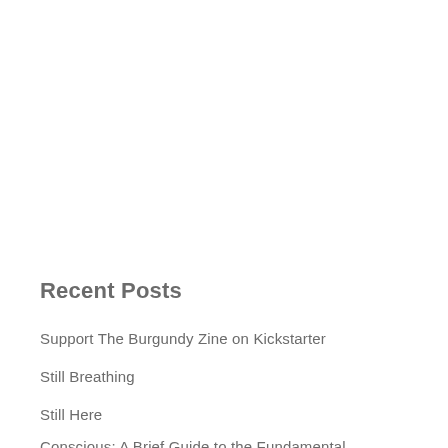Recent Posts
Support The Burgundy Zine on Kickstarter
Still Breathing
Still Here
Conscious: A Brief Guide to the Fundamental